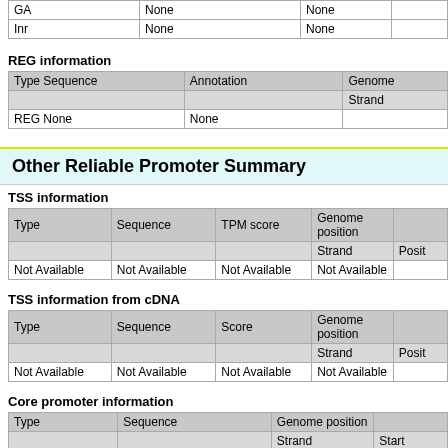| Type Sequence | Annotation | Genome Strand |
| --- | --- | --- |
| GA | None | None |
| Inr | None | None |
REG information
| Type Sequence | Annotation | Genome Strand |
| --- | --- | --- |
| REG None | None |  |
Other Reliable Promoter Summary
TSS information
| Type | Sequence | TPM score | Genome position Strand | Posit |
| --- | --- | --- | --- | --- |
| Not Available | Not Available | Not Available | Not Available |  |
TSS information from cDNA
| Type | Sequence | Score | Genome position Strand | Posit |
| --- | --- | --- | --- | --- |
| Not Available | Not Available | Not Available | Not Available |  |
Core promoter information
| Type | Sequence | Genome position Strand | Start |
| --- | --- | --- | --- |
| initiator | Not Available | Not Available |  |